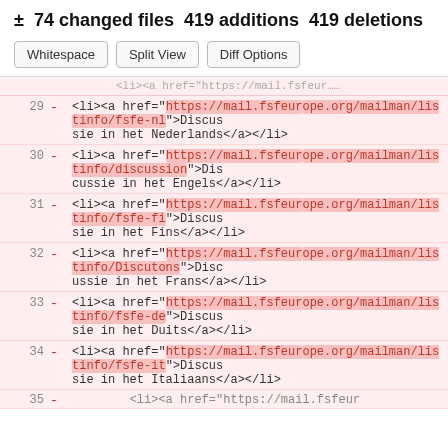± 74 changed files 419 additions 419 deletions
Whitespace | Split View | Diff Options
29 - <li><a href="https://mail.fsfeurope.org/mailman/listinfo/fsfe-nl">Discussie in het Nederlands</a></li>
30 - <li><a href="https://mail.fsfeurope.org/mailman/listinfo/discussion">Discussie in het Engels</a></li>
31 - <li><a href="https://mail.fsfeurope.org/mailman/listinfo/fsfe-fi">Discussie in het Fins</a></li>
32 - <li><a href="https://mail.fsfeurope.org/mailman/listinfo/Discutons">Discussie in het Frans</a></li>
33 - <li><a href="https://mail.fsfeurope.org/mailman/listinfo/fsfe-de">Discussie in het Duits</a></li>
34 - <li><a href="https://mail.fsfeurope.org/mailman/listinfo/fsfe-it">Discussie in het Italiaans</a></li>